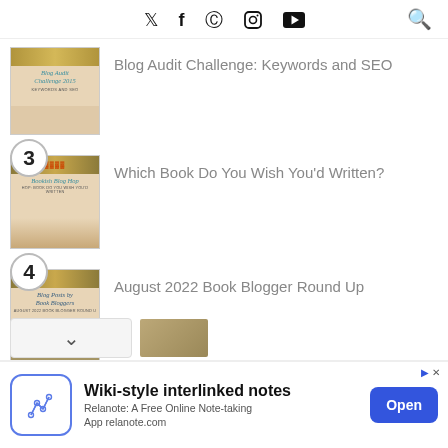Social media icons: Twitter, Facebook, Pinterest, Instagram, YouTube, Search
Blog Audit Challenge: Keywords and SEO
3 — Which Book Do You Wish You'd Written?
4 — August 2022 Book Blogger Round Up
[Figure (screenshot): Advertisement banner: Wiki-style interlinked notes, Relanote: A Free Online Note-taking App relanote.com, with Open button]